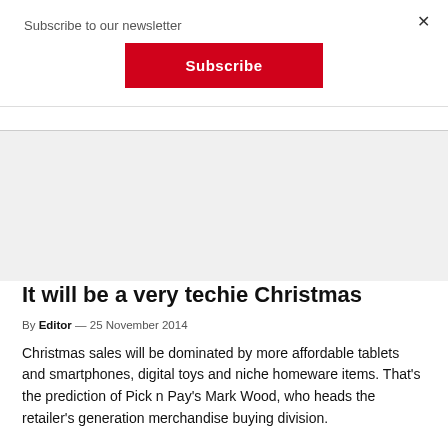Subscribe to our newsletter
Subscribe
×
It will be a very techie Christmas
By Editor — 25 November 2014
Christmas sales will be dominated by more affordable tablets and smartphones, digital toys and niche homeware items. That's the prediction of Pick n Pay's Mark Wood, who heads the retailer's generation merchandise buying division.